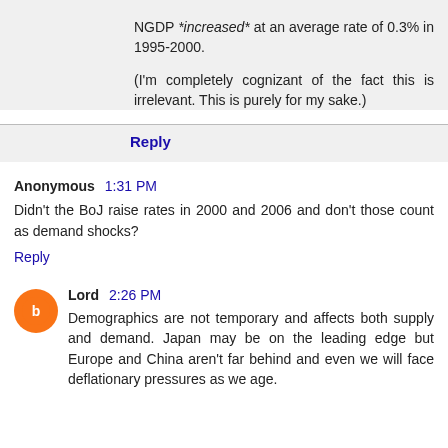NGDP *increased* at an average rate of 0.3% in 1995-2000.
(I'm completely cognizant of the fact this is irrelevant. This is purely for my sake.)
Reply
Anonymous  1:31 PM
Didn't the BoJ raise rates in 2000 and 2006 and don't those count as demand shocks?
Reply
Lord  2:26 PM
Demographics are not temporary and affects both supply and demand. Japan may be on the leading edge but Europe and China aren't far behind and even we will face deflationary pressures as we age.